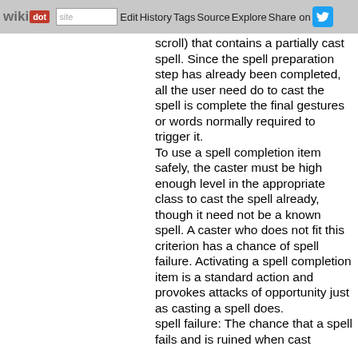wikidot | site | Edit | History | Tags | Source | Explore | Share on [Twitter]
scroll) that contains a partially cast spell. Since the spell preparation step has already been completed, all the user need do to cast the spell is complete the final gestures or words normally required to trigger it. To use a spell completion item safely, the caster must be high enough level in the appropriate class to cast the spell already, though it need not be a known spell. A caster who does not fit this criterion has a chance of spell failure. Activating a spell completion item is a standard action and provokes attacks of opportunity just as casting a spell does. spell failure: The chance that a spell fails and is ruined when cast